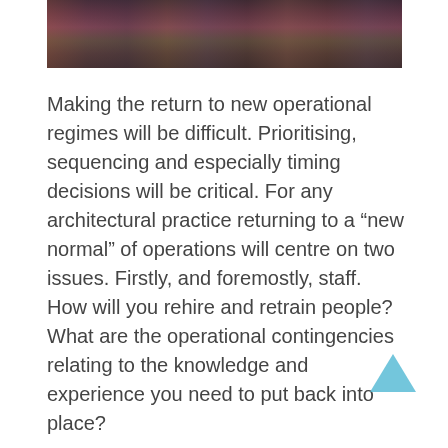[Figure (photo): Partial photograph of people in colorful costumes or historical dress, cropped at the top of the page]
Making the return to new operational regimes will be difficult. Prioritising, sequencing and especially timing decisions will be critical. For any architectural practice returning to a “new normal” of operations will centre on two issues. Firstly, and foremostly, staff. How will you rehire and retrain people? What are the operational contingencies relating to the knowledge and experience you need to put back into place?
For example, if you got rid of your research, business development or marketing staff as the pandemic hit to save money, you won’t get back as quickly as possible. These are the very people, or initiatives, you should keep. Not every firm will survive this, so it is better to be back from the dead